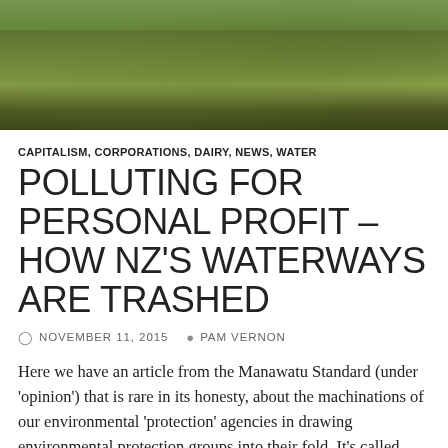[Figure (photo): Aerial or ground-level photo of green grass/farmland landscape]
CAPITALISM, CORPORATIONS, DAIRY, NEWS, WATER
POLLUTING FOR PERSONAL PROFIT – HOW NZ'S WATERWAYS ARE TRASHED
NOVEMBER 11, 2015   PAM VERNON
Here we have an article from the Manawatu Standard (under 'opinion') that is rare in its honesty, about the machinations of our environmental 'protection' agencies in drawing environmental protection groups into their fold. It's called 'collaboration' but is not what it seems, as the article very honestly points out, titling the collaboration process